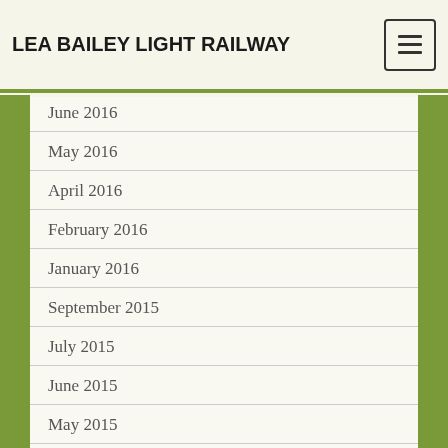LEA BAILEY LIGHT RAILWAY
June 2016
May 2016
April 2016
February 2016
January 2016
September 2015
July 2015
June 2015
May 2015
April 2015
March 2015